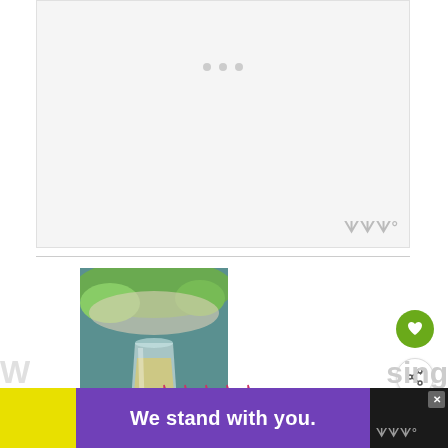[Figure (other): Top advertisement placeholder area with three dots indicating loading/carousel and a Wired logo watermark in bottom right]
[Figure (photo): Close-up photo of a glass of creamy light yellow liquid (likely a smoothie or juice) on a teal/blue surface with salad greens and food visible in background]
[Figure (other): Star rating widget showing 0 from 0 votes with 5 empty pink star outlines]
0 from 0 votes
Print
[Figure (other): Green circular favorite/heart button on right side]
[Figure (other): White circular share button with share icon on right side]
WHAT'S NEXT → Homemade Vegan...
[Figure (other): Bottom advertisement banner: yellow block on left, purple section with 'We stand with you.' text in white, dark/black section on right with close X button]